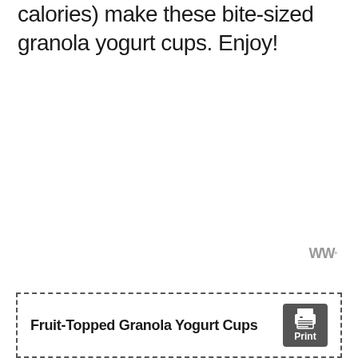calories) make these bite-sized granola yogurt cups. Enjoy!
[Figure (logo): WW logo watermark in gray]
Fruit-Topped Granola Yogurt Cups